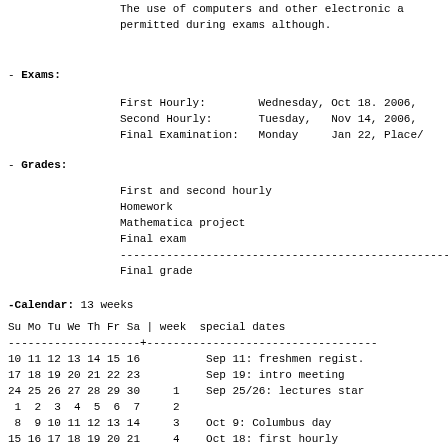The use of computers and other electronic a
permitted during exams although.
- Exams:
First Hourly:        Wednesday, Oct 18. 2006,
Second Hourly:       Tuesday,   Nov 14, 2006,
Final Examination:   Monday     Jan 22, Place/
- Grades:
| Item | Value |
| --- | --- |
| First and second hourly | 3 |
| Homework | 2 |
| Mathematica project |  |
| Final exam | 4 |
| --- | --- |
| Final grade | 10 |
-Calendar: 13 weeks
| Su | Mo | Tu | We | Th | Fr | Sa | | | week | special dates |
| --- | --- | --- | --- | --- | --- | --- | --- | --- | --- |
| 10 | 11 | 12 | 13 | 14 | 15 | 16 |  |  | Sep 11: freshmen regist. |
| 17 | 18 | 19 | 20 | 21 | 22 | 23 |  |  | Sep 19: intro meeting |
| 24 | 25 | 26 | 27 | 28 | 29 | 30 |  | 1 | Sep 25/26: lectures star |
| 1 | 2 | 3 | 4 | 5 | 6 | 7 |  | 2 |  |
| 8 | 9 | 10 | 11 | 12 | 13 | 14 |  | 3 | Oct 9: Columbus day |
| 15 | 16 | 17 | 18 | 19 | 20 | 21 |  | 4 | Oct 18: first hourly |
| 22 | 23 | 24 | 25 | 26 | 27 | 28 |  | 5 |  |